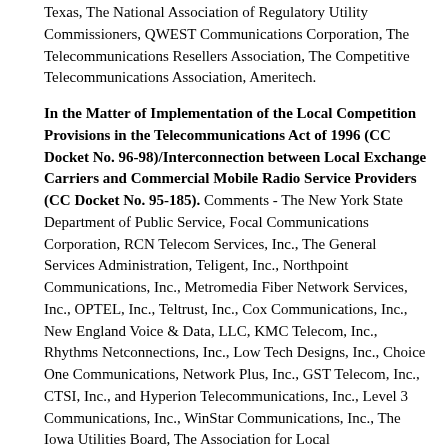Texas, The National Association of Regulatory Utility Commissioners, QWEST Communications Corporation, The Telecommunications Resellers Association, The Competitive Telecommunications Association, Ameritech.
In the Matter of Implementation of the Local Competition Provisions in the Telecommunications Act of 1996 (CC Docket No. 96-98)/Interconnection between Local Exchange Carriers and Commercial Mobile Radio Service Providers (CC Docket No. 95-185). Comments - The New York State Department of Public Service, Focal Communications Corporation, RCN Telecom Services, Inc., The General Services Administration, Teligent, Inc., Northpoint Communications, Inc., Metromedia Fiber Network Services, Inc., OPTEL, Inc., Teltrust, Inc., Cox Communications, Inc., New England Voice & Data, LLC, KMC Telecom, Inc., Rhythms Netconnections, Inc., Low Tech Designs, Inc., Choice One Communications, Network Plus, Inc., GST Telecom, Inc., CTSI, Inc., and Hyperion Telecommunications, Inc., Level 3 Communications, Inc., WinStar Communications, Inc., The Iowa Utilities Board, The Association for Local Telecommunications Services,